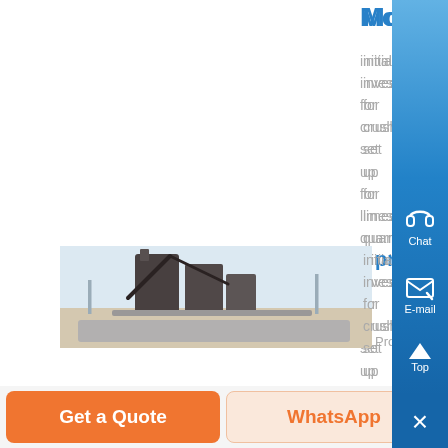More
initial investment for crusher set up for limestone quarry initial investment for crusher set up for limestone quarry As a leading global manufacturer of crushing, grinding and mining equipments, we offer advanced, reasonable solutions for any size-reduction requirements including quarry, aggregate, and different kinds of minerals...
[Figure (photo): Industrial stone crusher / quarry machinery equipment at an outdoor quarry site]
proposal for setting up a stone quarry - Know More
Proposal for setting up a stone quarry Proposal for setting up a stone quarry
Get a Quote | WhatsApp